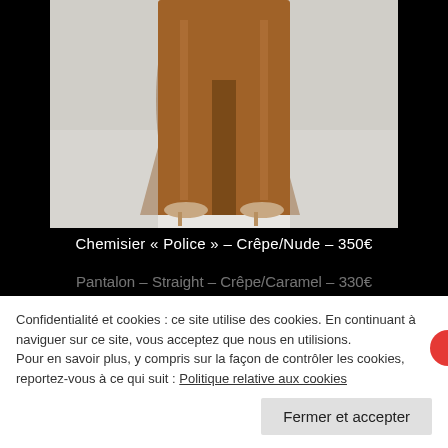[Figure (photo): Close-up photo of a person wearing wide-leg brown/caramel crêpe trousers with nude heeled sandals, on a white studio background]
Chemisier « Police » – Crêpe/Nude – 350€
Pantalon – Straight – Crêpe/Caramel – 330€
Confidentialité et cookies : ce site utilise des cookies. En continuant à naviguer sur ce site, vous acceptez que nous en utilisions. Pour en savoir plus, y compris sur la façon de contrôler les cookies, reportez-vous à ce qui suit : Politique relative aux cookies
Fermer et accepter